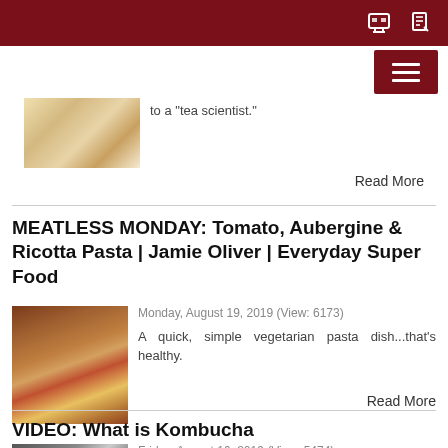Navigation bar with hamburger menu and icons
to a "tea scientist."
Read More
MEATLESS MONDAY: Tomato, Aubergine & Ricotta Pasta | Jamie Oliver | Everyday Super Food
Monday, August 19, 2019  (View: 6173)
A quick, simple vegetarian pasta dish...that's healthy.
Read More
VIDEO: What is Kombucha
Friday, August 16, 2019  (View: 5474)
What is the fizzy, fermented Kombucha